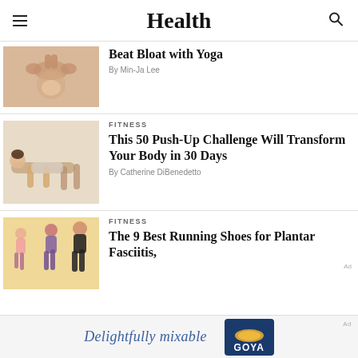Health
Beat Bloat with Yoga
By Min-Ja Lee
FITNESS
This 50 Push-Up Challenge Will Transform Your Body in 30 Days
By Catherine DiBenedetto
FITNESS
The 9 Best Running Shoes for Plantar Fasciitis,
Ad
Delightfully mixable